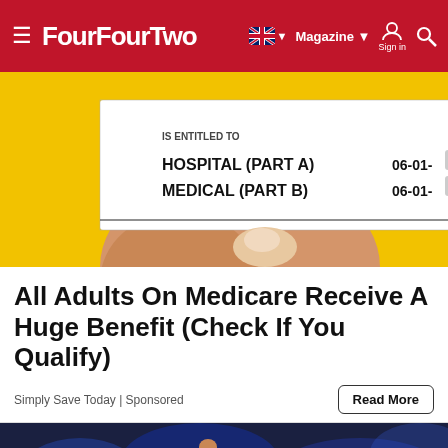FourFourTwo — Magazine | Sign in | Search
[Figure (photo): A hand holding a Medicare card showing 'IS ENTITLED TO HOSPITAL (PART A) 06-01- MEDICAL (PART B) 06-01-' against a yellow background]
All Adults On Medicare Receive A Huge Benefit (Check If You Qualify)
Simply Save Today | Sponsored
Read More
[Figure (photo): Soccer player in red celebrating with fist raised, crowd blurred in background]
Looks like you're in the US! Visit